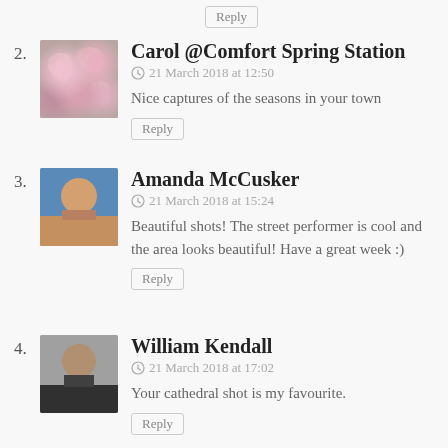Reply
2. Carol @Comfort Spring Station
21 March 2018 at 12:50
Nice captures of the seasons in your town
Reply
3. Amanda McCusker
21 March 2018 at 15:24
Beautiful shots! The street performer is cool and the area looks beautiful! Have a great week :)
Reply
4. William Kendall
21 March 2018 at 17:02
Your cathedral shot is my favourite.
Reply